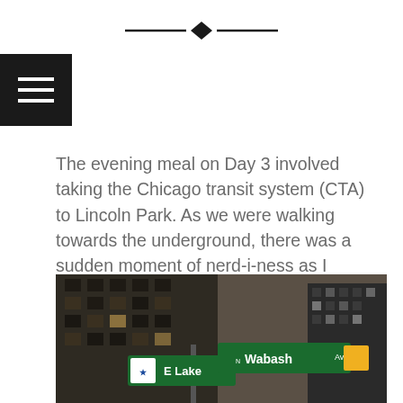[Figure (other): Decorative diamond-shaped horizontal divider line]
[Figure (other): Black hamburger menu icon with three white horizontal lines]
The evening meal on Day 3 involved taking the Chicago transit system (CTA) to Lincoln Park. As we were walking towards the underground, there was a sudden moment of nerd-i-ness as I realized that we were standing on the "Wabash and Lake" street corner from Mega City (The Matrix).
[Figure (photo): Night photograph of Chicago street corner showing 'E Lake' and 'N Wabash Av' street signs with large multi-story buildings in the background]